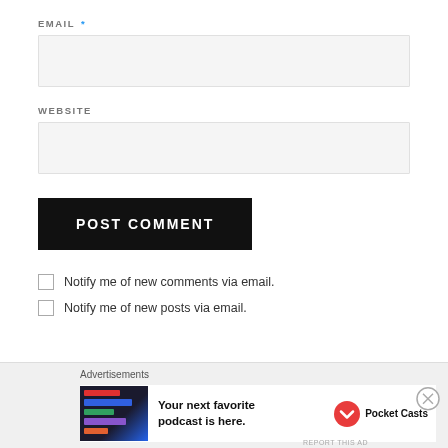EMAIL *
WEBSITE
POST COMMENT
Notify me of new comments via email.
Notify me of new posts via email.
Advertisements
[Figure (other): Pocket Casts advertisement: 'Your next favorite podcast is here.' with Pocket Casts logo and app screenshot]
REPORT THIS AD